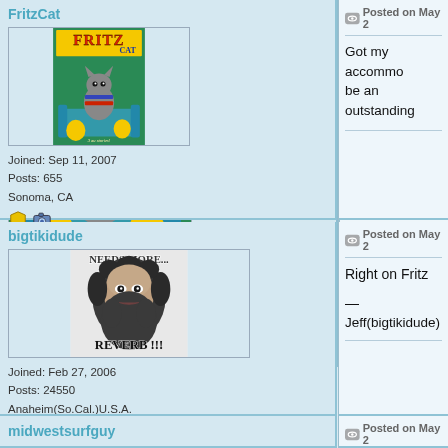[Figure (screenshot): Forum thread screenshot showing two user posts partially visible. First post by FritzCat with Fritz the Cat comic avatar, joined Sep 11 2007, 655 posts, Sonoma CA. Post text begins 'Got my accommo...' and 'be an outstanding...'. Second post by bigtikidude with 'NEEDS MORE REVERB' meme avatar, joined Feb 27 2006, 24550 posts, Anaheim(So.Cal.)U.S.A. Post text: 'Right on Fritz' with signature 'Jeff(bigtikidude)'. Third row partially visible: midwestsurfguy.]